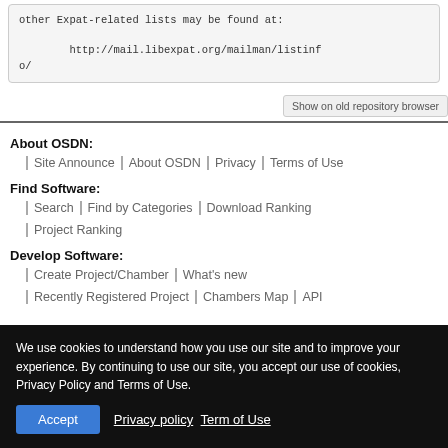other Expat-related lists may be found at:

        http://mail.libexpat.org/mailman/listinfo/
Show on old repository browser
About OSDN:
Site Announce | About OSDN | Privacy | Terms of Use
Find Software:
Search | Find by Categories | Download Ranking
Project Ranking
Develop Software:
Create Project/Chamber | What's new
Recently Registered Project | Chambers Map | API
We use cookies to understand how you use our site and to improve your experience. By continuing to use our site, you accept our use of cookies, Privacy Policy and Terms of Use.
Accept  Privacy policy  Term of Use